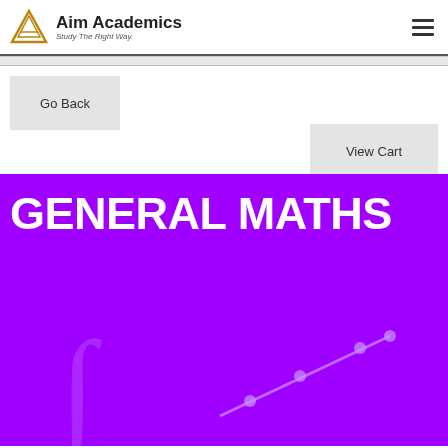Aim Academics — Study The Right Way.
Go Back
View Cart
[Figure (illustration): Purple banner with bold white text 'GENERAL MATHS' and decorative math graphics including an integral symbol and a line graph with dots on a purple background.]